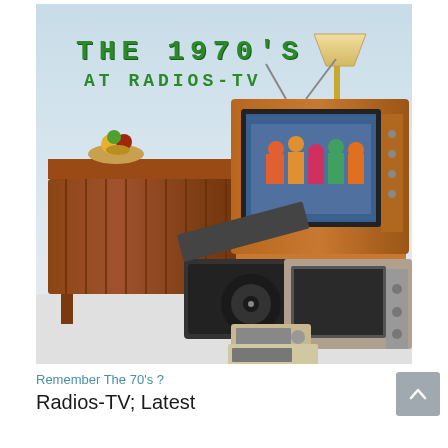[Figure (photo): Vintage 1970s electronics scene showing a wooden stereo console/sideboard with a fruit bowl on top, a color CRT television on a stand showing a dance program, a black portable record player, a portable transistor radio, a smaller black and white TV, and a floor lamp in the background. Text overlay reads 'THE 1970'S AT RADIOS-TV' in green retro font.]
Remember The 70's ?
Radios-TV; Latest